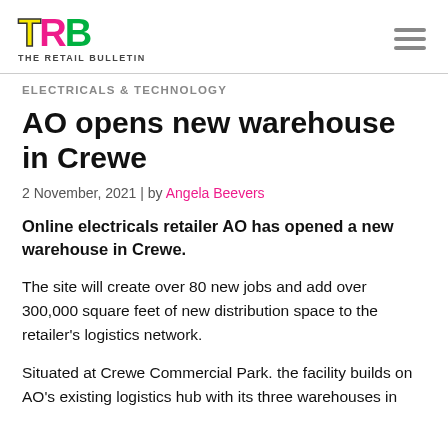TRB THE RETAIL BULLETIN
ELECTRICALS & TECHNOLOGY
AO opens new warehouse in Crewe
2 November, 2021 | by Angela Beevers
Online electricals retailer AO has opened a new warehouse in Crewe.
The site will create over 80 new jobs and add over 300,000 square feet of new distribution space to the retailer's logistics network.
Situated at Crewe Commercial Park. the facility builds on AO's existing logistics hub with its three warehouses in